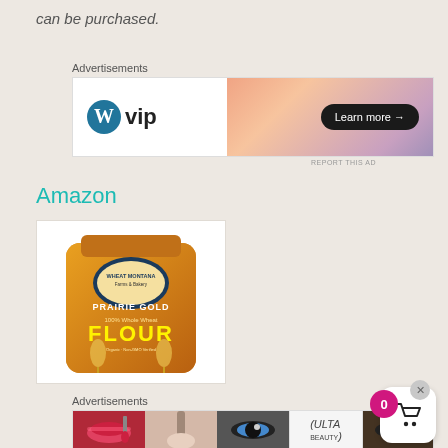can be purchased.
Advertisements
[Figure (screenshot): WordPress VIP advertisement banner with gradient peach/purple background and Learn more button]
REPORT THIS AD
Amazon
[Figure (photo): Prairie Gold 100% Whole Wheat Flour bag product image on white background]
Advertisements
[Figure (screenshot): Ulta beauty advertisement banner showing makeup photos, Ulta logo, and Shop Now text]